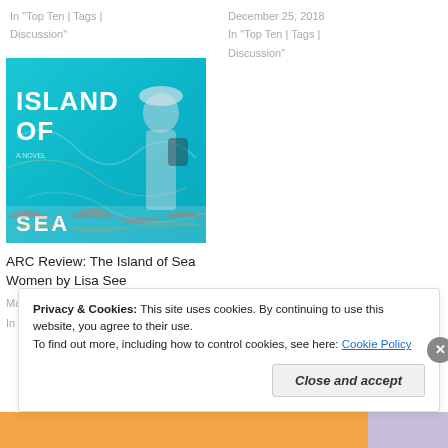In "Top Ten | Tags | Discussion"
December 25, 2018
In "Top Ten | Tags | Discussion"
[Figure (photo): Book cover for 'The Island of Sea Women' by Lisa See — turquoise/teal background with bold white text reading ISLAND OF SEA and a figure in traditional clothing]
ARC Review: The Island of Sea Women by Lisa See
March 8, 2019
In "Book Reviews"
Privacy & Cookies: This site uses cookies. By continuing to use this website, you agree to their use.
To find out more, including how to control cookies, see here: Cookie Policy
Close and accept